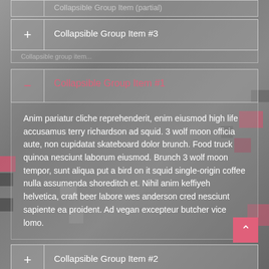Collapsible Group Item #3
– Collapsible Group Item #1
Anim pariatur cliche reprehenderit, enim eiusmod high life accusamus terry richardson ad squid. 3 wolf moon officia aute, non cupidatat skateboard dolor brunch. Food truck quinoa nesciunt laborum eiusmod. Brunch 3 wolf moon tempor, sunt aliqua put a bird on it squid single-origin coffee nulla assumenda shoreditch et. Nihil anim keffiyeh helvetica, craft beer labore wes anderson cred nesciunt sapiente ea proident. Ad vegan excepteur butcher vice lomo.
+ Collapsible Group Item #2
+ Collapsible Group Item #3 (partial)